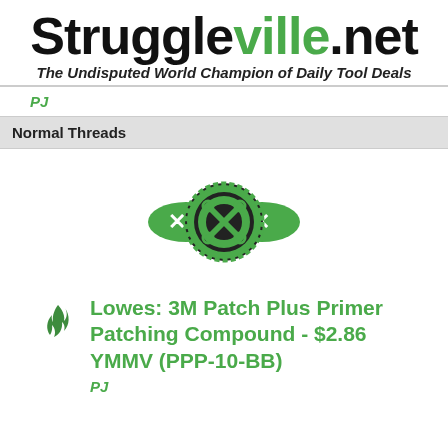Struggleville.net — The Undisputed World Champion of Daily Tool Deals
PJ
Normal Threads
[Figure (logo): Struggleville forum logo — circular saw blade with crossed wrenches, green and black]
Lowes: 3M Patch Plus Primer Patching Compound - $2.86 YMMV (PPP-10-BB)
PJ